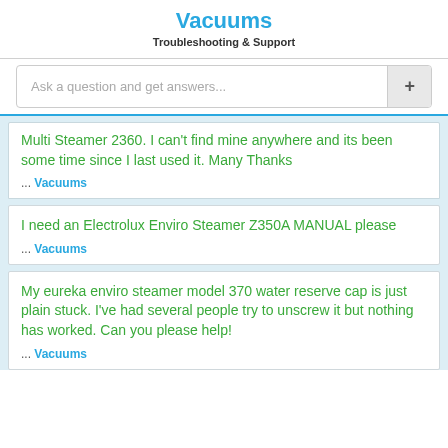Vacuums
Troubleshooting & Support
Ask a question and get answers...
Multi Steamer 2360. I can't find mine anywhere and its been some time since I last used it. Many Thanks
... Vacuums
I need an Electrolux Enviro Steamer Z350A MANUAL please
... Vacuums
My eureka enviro steamer model 370 water reserve cap is just plain stuck. I've had several people try to unscrew it but nothing has worked. Can you please help!
... Vacuums